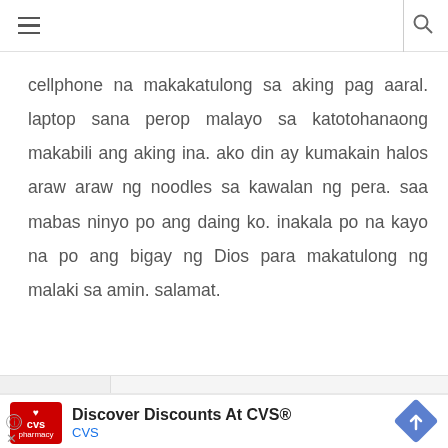cellphone na makakatulong sa aking pag aaral. laptop sana perop malayo sa katotohanaong makabili ang aking ina. ako din ay kumakain halos araw araw ng noodles sa kawalan ng pera. saa mabas ninyo po ang daing ko. inakala po na kayo na po ang bigay ng Dios para makatulong ng malaki sa amin. salamat.
vinson,
Discover Discounts At CVS®
CVS